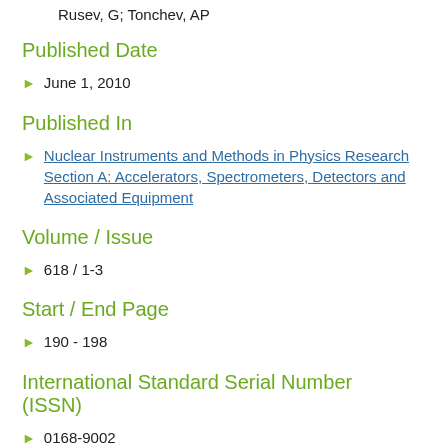Rusev, G; Tonchev, AP
Published Date
June 1, 2010
Published In
Nuclear Instruments and Methods in Physics Research Section A: Accelerators, Spectrometers, Detectors and Associated Equipment
Volume / Issue
618 / 1-3
Start / End Page
190 - 198
International Standard Serial Number (ISSN)
0168-9002